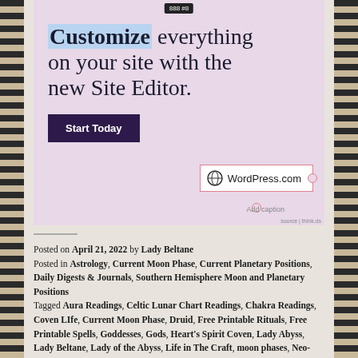[Figure (screenshot): WordPress.com advertisement showing 'Customize everything on your site with the new Site Editor.' with a dark purple 'Start Today' button and a WordPress.com logo badge in the lower right corner on a pink/lavender background.]
Add caption
Posted on April 21, 2022 by Lady Beltane
Posted in Astrology, Current Moon Phase, Current Planetary Positions, Daily Digests & Journals, Southern Hemisphere Moon and Planetary Positions
Tagged Aura Readings, Celtic Lunar Chart Readings, Chakra Readings, Coven LIfe, Current Moon Phase, Druid, Free Printable Rituals, Free Printable Spells, Goddesses, Gods, Heart's Spirit Coven, Lady Abyss, Lady Beltane, Lady of the Abyss, Life in The Craft, moon phases, Neo-Paganism, Numerology Readings, Ogham Readings, Online coven, Online Esbat Gathering, Online Sabbat Gathering, Open Chats, Pagan, Pagan Open Chats, Paganism, Rituals, Rune Readings, Solitarypractitioner, Southeastern